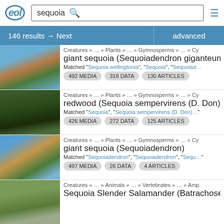[Figure (screenshot): EOL (Encyclopedia of Life) logo in blue circle with italic text]
sequoia (search box)
146 results → Next   advanced
[Figure (photo): Photo of giant sequoia tree trunk against blue sky]
Creatures » … » Plants » … » Gymnosperms » … » Cy
giant sequoia (Sequoiadendron giganteum (Lin…
Matched "Sequoia wellingtonia", "Sequoia", "Sequoiad…
492 MEDIA   318 DATA   130 ARTICLES
[Figure (photo): Photo looking up through redwood canopy]
Creatures » … » Plants » … » Gymnosperms » … » Cy
redwood (Sequoia sempervirens (D. Don) Endl.…
Matched "Sequoia", "Sequoia sempervirens (D. Don)…
426 MEDIA   272 DATA   125 ARTICLES
[Figure (photo): Photo of giant sequoia tree with blue sky]
Creatures » … » Plants » … » Gymnosperms » … » Cy
giant sequoia (Sequoiadendron)
Matched "Sequoiadendron", "Sequoiadendron", "Sequ…
497 MEDIA   26 DATA   4 ARTICLES
[Figure (photo): Photo of plant/salamander habitat]
Creatures » … » Animals » … » Vertebrates » … » Amp
Sequoia Slender Salamander (Batrachoseps ka…